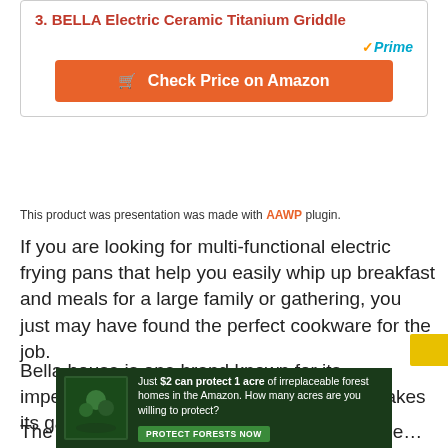3. BELLA Electric Ceramic Titanium Griddle
[Figure (other): Amazon Prime logo with checkmark and italic Prime text]
[Figure (other): Orange button: Check Price on Amazon with shopping cart icon]
This product was presentation was made with AAWP plugin.
If you are looking for multi-functional electric frying pans that help you easily whip up breakfast and meals for a large family or gathering, you just may have found the perfect cookware for the job.
Bella house is one brand known for its impeccable products, and this product just takes its game further up.
[Figure (other): Advertisement banner: Just $2 can protect 1 acre of irreplaceable forest homes in the Amazon. How many acres are you willing to protect? PROTECT FORESTS NOW button.]